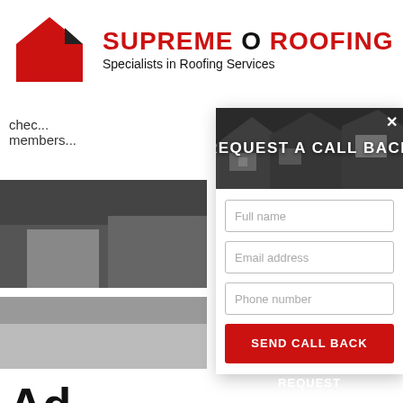[Figure (logo): Supreme O Roofing logo with red house/roof icon and company name]
SUPREME O ROOFING
Specialists in Roofing Services
chec... members...
[Figure (photo): Partially visible photo of roofing/house image]
[Figure (screenshot): REQUEST A CALL BACK modal overlay with form fields: Full name, Email address, Phone number, and SEND CALL BACK REQUEST button]
Ad...